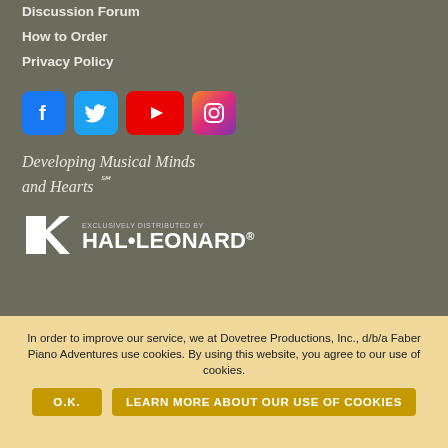Discussion Forum
How to Order
Privacy Policy
[Figure (infographic): Social media icons: Facebook (blue), Twitter (light blue), YouTube (red with play button), Instagram (gradient)]
Developing Musical Minds and Hearts ℠
[Figure (logo): Hal Leonard logo with text 'Exclusively Distributed By' above and Hal Leonard trademark below, featuring a stylized graphic mark]
In order to improve our service, we at Dovetree Productions, Inc., d/b/a Faber Piano Adventures use cookies. By using this website, you agree to our use of cookies.
O.K.
LEARN MORE ABOUT OUR USE OF COOKIES